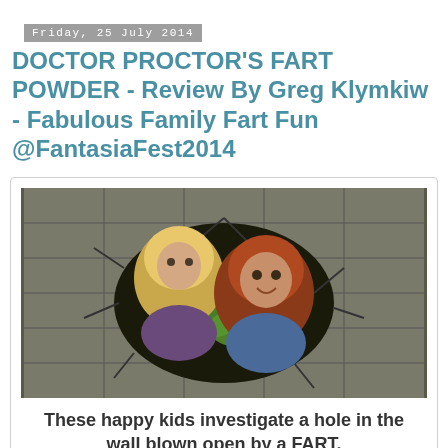Friday, 25 July 2014
DOCTOR PROCTOR'S FART POWDER - Review By Greg Klymkiw - Fabulous Family Fart Fun @FantasiaFest2014
[Figure (photo): Two children peering through a hole blown in a tiled wall, one with blonde hair and one with red hair, both looking excited]
These happy kids investigate a hole in the wall blown open by a FART.